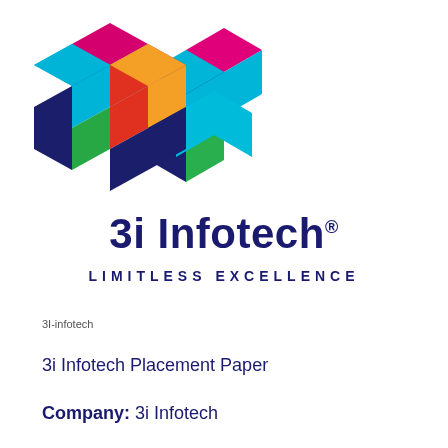[Figure (logo): 3i Infotech logo consisting of three colorful 3D cubes arranged in a triangular pattern: top cube with magenta/cyan faces, left cube with green/cyan faces, right cube with red/orange faces, all with dark navy blue bottom faces]
3i Infotech®
LIMITLESS EXCELLENCE
3I-infotech
3i Infotech Placement Paper
Company: 3i Infotech